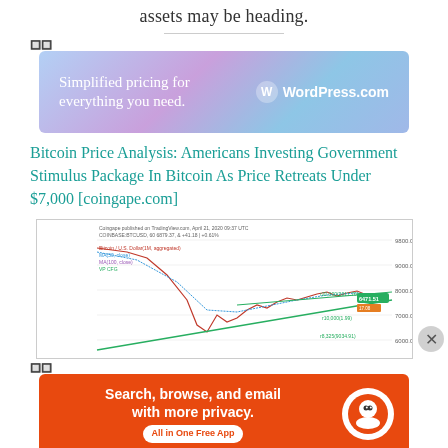assets may be heading.
[Figure (other): WordPress.com advertisement banner: 'Simplified pricing for everything you need.']
Bitcoin Price Analysis: Americans Investing Government Stimulus Package In Bitcoin As Price Retreats Under $7,000 [coingape.com]
[Figure (line-chart): Bitcoin price chart from TradingView showing COINBASE:BTCUSD price action with moving averages and support/resistance levels around $6,000-$9,000 range]
[Figure (other): DuckDuckGo advertisement banner: 'Search, browse, and email with more privacy. All in One Free App']